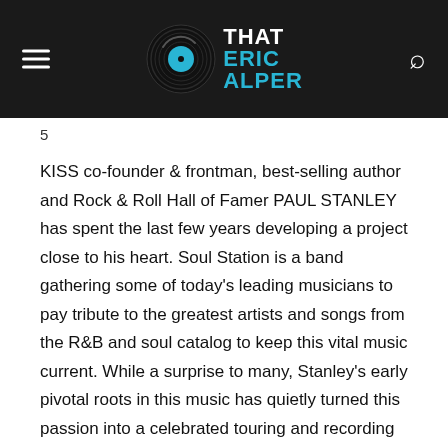That Eric Alper
5
KISS co-founder & frontman, best-selling author and Rock & Roll Hall of Famer PAUL STANLEY has spent the last few years developing a project close to his heart. Soul Station is a band gathering some of today's leading musicians to pay tribute to the greatest artists and songs from the R&B and soul catalog to keep this vital music current. While a surprise to many, Stanley's early pivotal roots in this music has quietly turned this passion into a celebrated touring and recording band. Stanley's 15-piece ensemble group has toured the U.S. and Japan, and recently recorded an album of nine classic soul songs and five new original songs. NOW AND THEN will be released March 5, and the first single “O-O-H Child” (The Five Stairsteps) is available today.